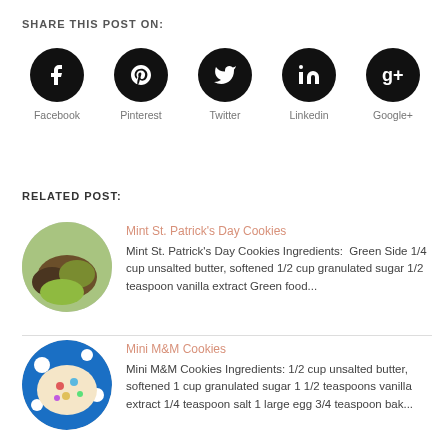SHARE THIS POST ON:
[Figure (infographic): Social media share icons: Facebook, Pinterest, Twitter, LinkedIn, Google+, each as a black circle with white icon and label below]
RELATED POST:
[Figure (photo): Photo of Mint St. Patrick's Day Cookies - green and chocolate cookies stacked]
Mint St. Patrick's Day Cookies
Mint St. Patrick's Day Cookies Ingredients:  Green Side 1/4 cup unsalted butter, softened 1/2 cup granulated sugar 1/2 teaspoon vanilla extract Green food...
[Figure (photo): Photo of Mini M&M Cookies on a blue polka dot plate]
Mini M&M Cookies
Mini M&M Cookies Ingredients: 1/2 cup unsalted butter, softened 1 cup granulated sugar 1 1/2 teaspoons vanilla extract 1/4 teaspoon salt 1 large egg 3/4 teaspoon bak...